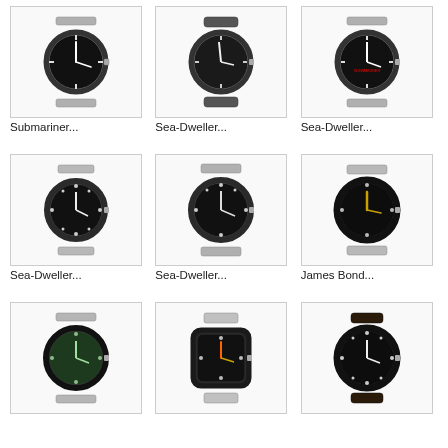[Figure (photo): Rolex Submariner watch with black dial and steel bracelet]
Submariner...
[Figure (photo): Rolex Sea-Dweller watch with black dial and rubber strap]
Sea-Dweller...
[Figure (photo): Rolex Sea-Dweller watch with black dial and steel bracelet]
Sea-Dweller...
[Figure (photo): Rolex Sea-Dweller watch with black dial and steel bracelet]
Sea-Dweller...
[Figure (photo): Rolex Sea-Dweller watch with black dial and steel bracelet]
Sea-Dweller...
[Figure (photo): Rolex James Bond Submariner watch with black dial]
James Bond...
[Figure (photo): Rolex Submariner watch with green dial and steel bracelet]
[Figure (photo): Rolex watch with black dial and steel case]
[Figure (photo): Rolex Submariner watch with black dial and leather strap]